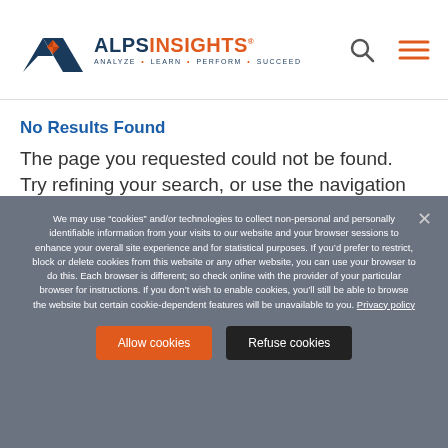[Figure (logo): ALPS Insights logo with mountain/arrow icon and tagline: ANALYZE • LEARN • PERFORM • SUCCEED]
No Results Found
The page you requested could not be found. Try refining your search, or use the navigation
We may use “cookies” and/or technologies to collect non-personal and personally identifiable information from your visits to our website and your browser sessions to enhance your overall site experience and for statistical purposes. If you’d prefer to restrict, block or delete cookies from this website or any other website, you can use your browser to do this. Each browser is different; so check online with the provider of your particular browser for instructions. If you don’t wish to enable cookies, you’ll still be able to browse the website but certain cookie-dependent features will be unavailable to you. Privacy policy